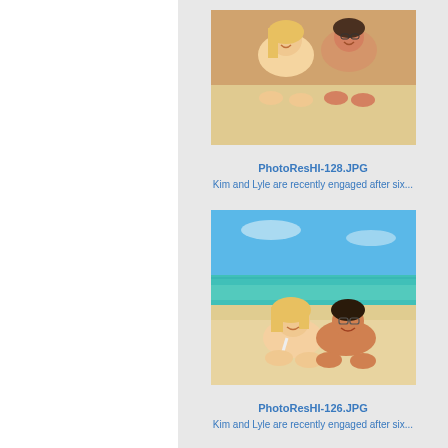[Figure (photo): Couple lying on a sandy beach smiling at camera (PhotoResHI-128.JPG)]
PhotoResHI-128.JPG
Kim and Lyle are recently engaged after six...
[Figure (photo): Couple lying on a sandy beach with blue sky and turquoise ocean in background (PhotoResHI-126.JPG)]
PhotoResHI-126.JPG
Kim and Lyle are recently engaged after six...